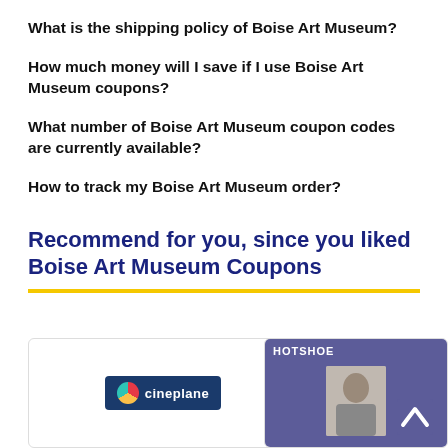What is the shipping policy of Boise Art Museum?
How much money will I save if I use Boise Art Museum coupons?
What number of Boise Art Museum coupon codes are currently available?
How to track my Boise Art Museum order?
Recommend for you, since you liked Boise Art Museum Coupons
[Figure (logo): Cineplane logo on dark blue background]
[Figure (photo): Hotshoe brand card with person photo and purple background, showing HOTSHOE text and upward arrow]